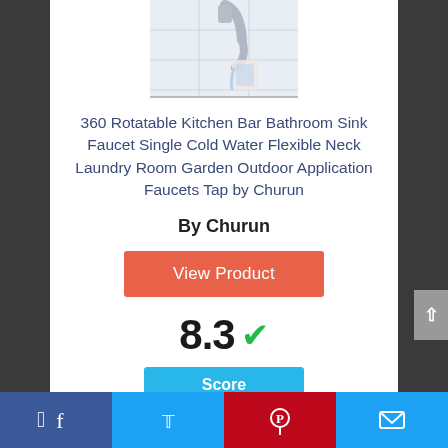[Figure (photo): Photo of a kitchen faucet with flexible neck, chrome finish, being held near a sink]
360 Rotatable Kitchen Bar Bathroom Sink Faucet Single Cold Water Flexible Neck Laundry Room Garden Outdoor Application Faucets Tap by Churun
By Churun
View Product
8.3 ✓
Score
[Figure (infographic): Social media share bar with Facebook, Twitter, Pinterest, and email icons]